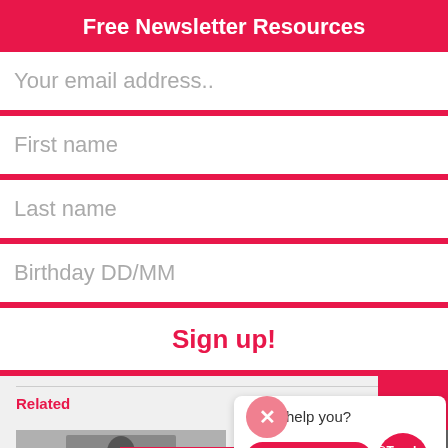Free Newsletter Resources
Your email address..
First name
Last name
Birthday DD/MM
Sign up!
Related
Can I help you?
Ask question
@Teacher Toolkit
Our Privacy and Cookies Policy